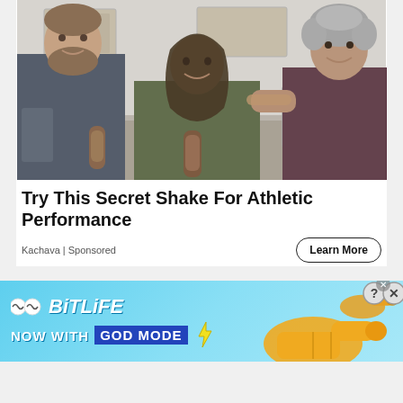[Figure (photo): Three people in a kitchen making protein shakes. A bearded man in a dark shirt on the left, a young woman with long dark hair in the center holding a bottle, and an older woman with curly gray hair on the right pouring from a blender.]
Try This Secret Shake For Athletic Performance
Kachava | Sponsored
[Figure (infographic): BitLife advertisement banner with light blue background. Shows BitLife logo with two circular icons and italic text, below reads NOW WITH GOD MODE in blue box with yellow lightning bolt. Cartoon hands pointing on the right side with ? and X buttons.]
Learn More